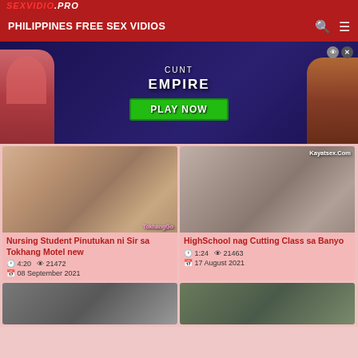PHILIPPINES FREE SEX VIDIOS
[Figure (infographic): Cunt Empire game advertisement banner with animated female characters and Play Now button]
[Figure (photo): Video thumbnail: nursing student in classroom, watermark TokhangGo]
Nursing Student Pinutukan ni Sir sa Tokhang Motel new
4:20  21472  08 September 2021
[Figure (photo): Video thumbnail: close-up face, watermark Kayatsex.Com]
HighSchool nag Cutting Class sa Banyo
1:24  21463  17 August 2021
[Figure (photo): Video thumbnail bottom left: partially visible]
[Figure (photo): Video thumbnail bottom right: partially visible outdoor scene]